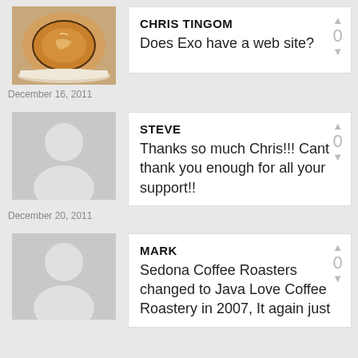[Figure (photo): Coffee cup with latte art, top-down view on saucer]
CHRIS TINGOM
Does Exo have a web site?
December 16, 2011
[Figure (illustration): Generic user avatar placeholder (gray silhouette)]
STEVE
Thanks so much Chris!!! Cant thank you enough for all your support!!
December 20, 2011
[Figure (illustration): Generic user avatar placeholder (gray silhouette)]
MARK
Sedona Coffee Roasters changed to Java Love Coffee Roastery in 2007, It again just